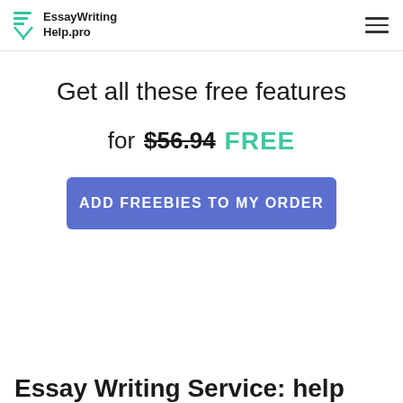EssayWritingHelp.pro
Get all these free features
for $56.94 FREE
ADD FREEBIES TO MY ORDER
Essay Writing Service: help